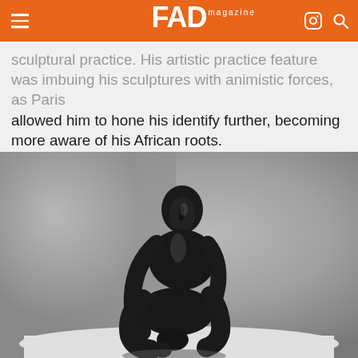FAD magazine
sculptural practice. His artistic practice feature was imbuing his sculptures with animistic forces, as Paris allowed him to hone his identity further, becoming more aware of his African roots.
[Figure (photo): Black and white photograph of a dark bronze or iron sculpture depicting a seated human figure in a contemplative pose, with knees drawn up and head bowed, holding or resting near a smaller figure, set against a grey gradient background on a white surface.]